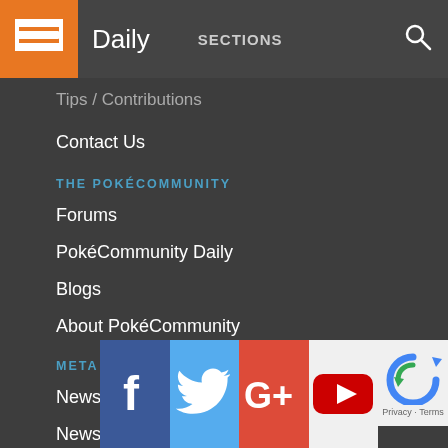Daily  SECTIONS
Tips / Contributions
Contact Us
THE POKÉCOMMUNITY
Forums
PokéCommunity Daily
Blogs
About PokéCommunity
META
News Posts RSS
News Posts JSON Feed
[Figure (logo): Social media icons row: Facebook, Twitter, Google+, YouTube, and reCAPTCHA badge]